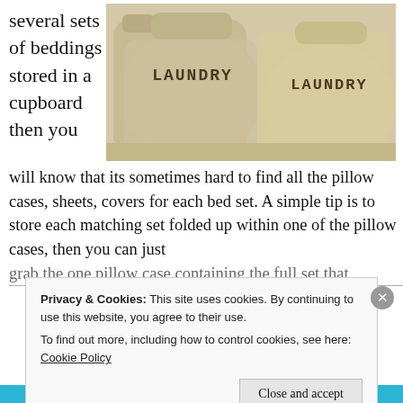several sets of beddings stored in a cupboard then you
[Figure (photo): Two beige canvas laundry bags side by side, each printed with the word LAUNDRY in dark block letters, photographed on a light surface.]
will know that its sometimes hard to find all the pillow cases, sheets, covers for each bed set. A simple tip is to store each matching set folded up within one of the pillow cases, then you can just grab the one pillow case containing the full set that
Privacy & Cookies: This site uses cookies. By continuing to use this website, you agree to their use.
To find out more, including how to control cookies, see here: Cookie Policy
Close and accept